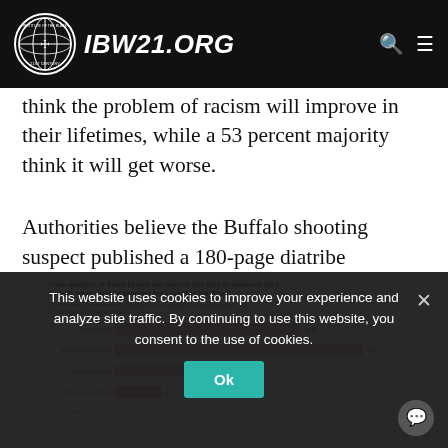IBW21.ORG
think the problem of racism will improve in their lifetimes, while a 53 percent majority think it will get worse.
[Figure (bar-chart): Three-quarters of Black people are worried that they or someone they love will be physically attacked because they are Black]
Authorities believe the Buffalo shooting suspect published a 180-page diatribe
This website uses cookies to improve your experience and analyze site traffic. By continuing to use this website, you consent to the use of cookies.